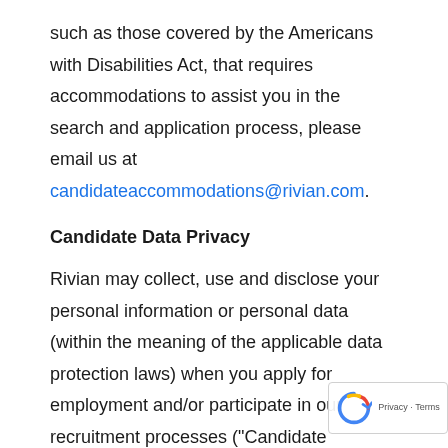such as those covered by the Americans with Disabilities Act, that requires accommodations to assist you in the search and application process, please email us at candidateaccommodations@rivian.com.
Candidate Data Privacy
Rivian may collect, use and disclose your personal information or personal data (within the meaning of the applicable data protection laws) when you apply for employment and/or participate in our recruitment processes ("Candidate Personal Data"). This data includes contact, demographic, communications, educational, professional, employment, social